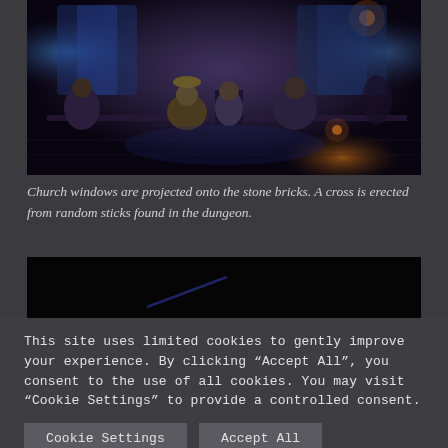[Figure (photo): A theater stage scene showing actors in medieval/period costumes seated on a stage with dark blue and purple lighting. Church windows appear projected onto stone brick walls in the background. Several figures are visible including characters seated on chairs/thrones. The lighting is dramatic and atmospheric.]
Church windows are projected onto the stone bricks. A cross is erected from random sticks found in the dungeon.
[Figure (photo): A partially visible dark theater image, mostly black with a faint blue diagonal line visible.]
This site uses limited cookies to gently improve your experience. By clicking “Accept All”, you consent to the use of all cookies. You may visit "Cookie Settings" to provide a controlled consent.